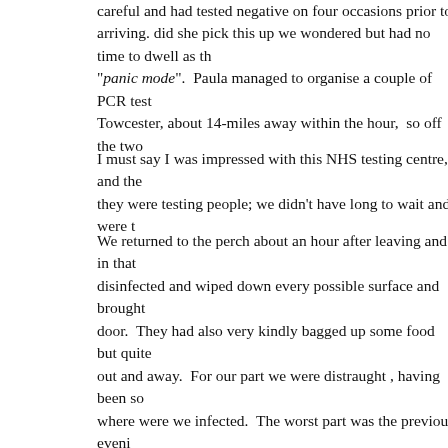careful and had tested negative on four occasions prior to arriving. did she pick this up we wondered but had no time to dwell as the "panic mode". Paula managed to organise a couple of PCR tests in Towcester, about 14-miles away within the hour, so off the two
I must say I was impressed with this NHS testing centre, and the they were testing people; we didn't have long to wait and were t
We returned to the perch about an hour after leaving and in that disinfected and wiped down every possible surface and brought door. They had also very kindly bagged up some food but quite out and away. For our part we were distraught , having been so where were we infected. The worst part was the previous evening with Derek and Cath, both elderly and vulnerable people and the jabbed", one really doesn't know. The other bad news; Christine second part of Mark's Christmas, tomorrow his mum with Jane, that has now been cancelled as his mum is extremely vulnerable the PCR test results ‘ till tomorrow, we weren't taking any chan. Peak District, albeit 6 hours earlier than planned.